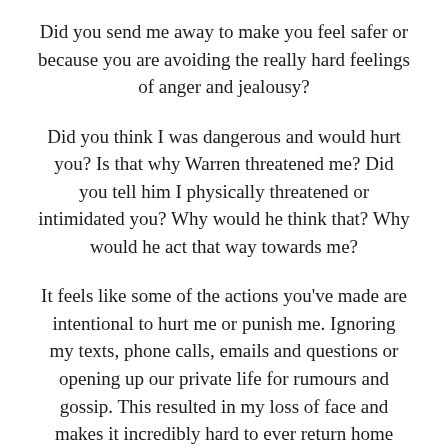Did you send me away to make you feel safer or because you are avoiding the really hard feelings of anger and jealousy?
Did you think I was dangerous and would hurt you? Is that why Warren threatened me? Did you tell him I physically threatened or intimidated you? Why would he think that? Why would he act that way towards me?
It feels like some of the actions you've made are intentional to hurt me or punish me. Ignoring my texts, phone calls, emails and questions or opening up our private life for rumours and gossip. This resulted in my loss of face and makes it incredibly hard to ever return home without serious humbling to near strangers. Was that intentional? Is that why I'm getting